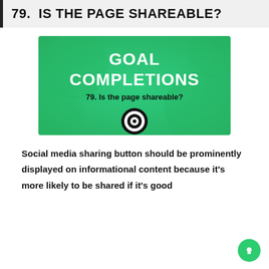79. IS THE PAGE SHAREABLE?
[Figure (infographic): Green banner with white bold text 'GOAL COMPLETIONS', subtitle '79. Is the page shareable?', and a target/bullseye icon below]
Social media sharing button should be prominently displayed on informational content because it's more likely to be shared if it's good